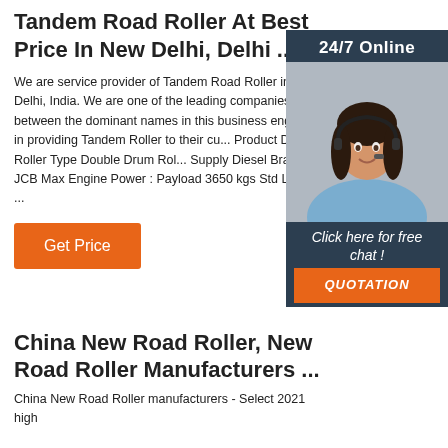Tandem Road Roller At Best Price In New Delhi, Delhi ...
We are service provider of Tandem Road Roller in New Delhi, India. We are one of the leading companies between the dominant names in this business engaged in providing Tandem Roller to their cu... Product Details: Roller Type Double Drum Rol... Supply Diesel Brand JCB Max Engine Power : Payload 3650 kgs Std Loader ...
[Figure (infographic): 24/7 Online chat widget with photo of woman wearing headset, dark blue background, 'Click here for free chat!' text, and orange QUOTATION button]
Get Price
China New Road Roller, New Road Roller Manufacturers ...
China New Road Roller manufacturers - Select 2021 high